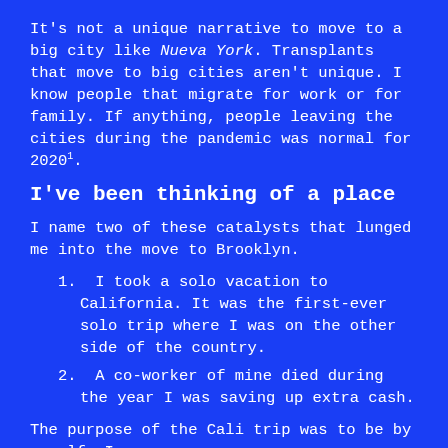It's not a unique narrative to move to a big city like Nueva York. Transplants that move to big cities aren't unique. I know people that migrate for work or for family. If anything, people leaving the cities during the pandemic was normal for 2020¹.
I've been thinking of a place
I name two of these catalysts that lunged me into the move to Brooklyn.
I took a solo vacation to California. It was the first-ever solo trip where I was on the other side of the country.
A co-worker of mine died during the year I was saving up extra cash.
The purpose of the Cali trip was to be by myself. I